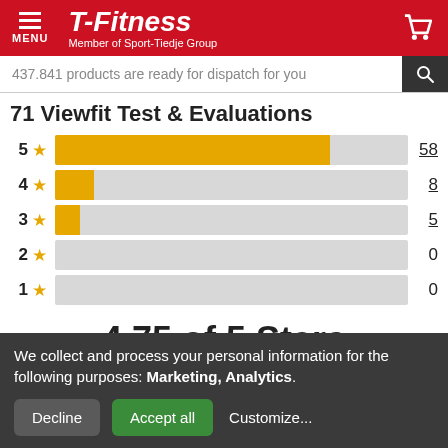T-Fitness — Member of Sport-Tiedje Group
437.841 products are ready for dispatch for you
71 Viewfit Test & Evaluations
[Figure (bar-chart): Star rating distribution]
4.75 of 5 Stars
(71 Customer ratings)
We collect and process your personal information for the following purposes: Marketing, Analytics.
Decline
Accept all
Customize...